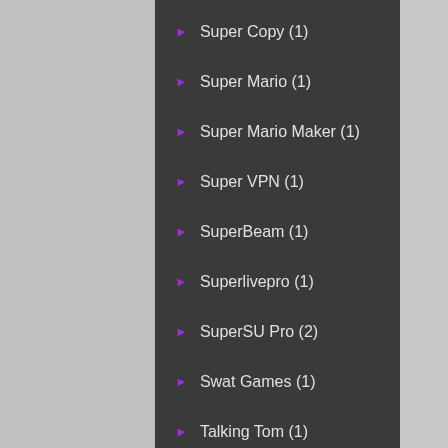Super Copy (1)
Super Mario (1)
Super Mario Maker (1)
Super VPN (1)
SuperBeam (1)
Superlivepro (1)
SuperSU Pro (2)
Swat Games (1)
Talking Tom (1)
Talking Tom Jetski 2 (1)